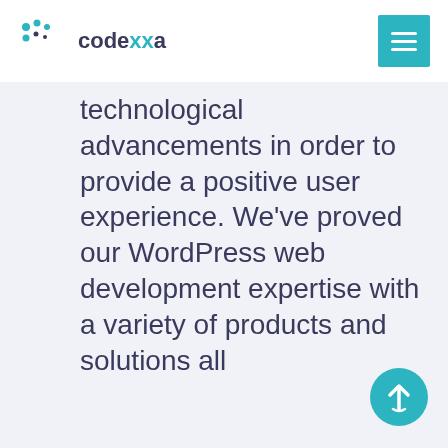codexxa
technological advancements in order to provide a positive user experience. We've proved our WordPress web development expertise with a variety of products and solutions all